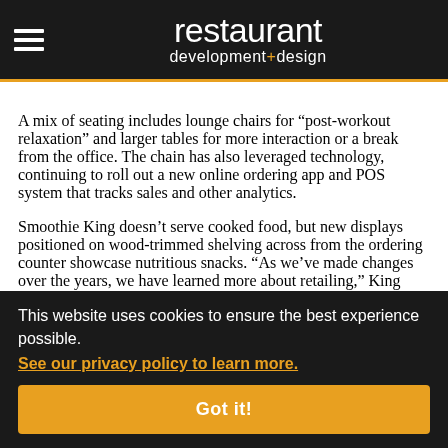restaurant development+design
A mix of seating includes lounge chairs for “post-workout relaxation” and larger tables for more interaction or a break from the office. The chain has also leveraged technology, continuing to roll out a new online ordering app and POS system that tracks sales and other analytics.
Smoothie King doesn’t serve cooked food, but new displays positioned on wood-trimmed shelving across from the ordering counter showcase nutritious snacks. “As we’ve made changes over the years, we have learned more about retailing,” King says.
This website uses cookies to ensure the best experience possible. See our privacy policy to learn more. Got it!